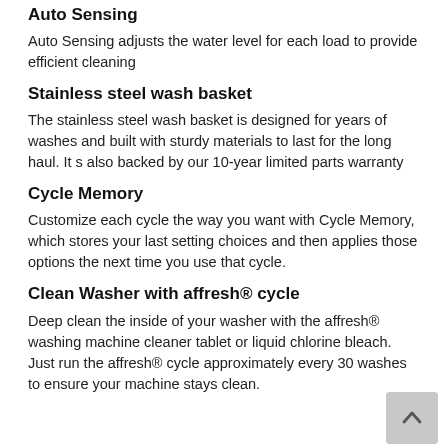efficient and concentrated cleaning to fight stubborn stains and robust wash action to help break up messes.
Auto Sensing
Auto Sensing adjusts the water level for each load to provide efficient cleaning
Stainless steel wash basket
The stainless steel wash basket is designed for years of washes and built with sturdy materials to last for the long haul. It s also backed by our 10-year limited parts warranty
Cycle Memory
Customize each cycle the way you want with Cycle Memory, which stores your last setting choices and then applies those options the next time you use that cycle.
Clean Washer with affresh® cycle
Deep clean the inside of your washer with the affresh® washing machine cleaner tablet or liquid chlorine bleach. Just run the affresh® cycle approximately every 30 washes to ensure your machine stays clean.